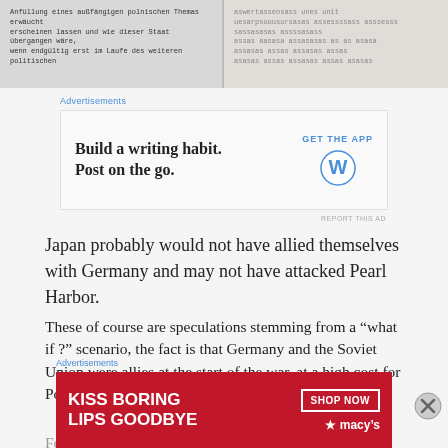[Figure (screenshot): Two side-by-side images of German-language typed text on aged document pages]
Advertisements
[Figure (screenshot): WordPress advertisement: 'Build a writing habit. Post on the go.' GET THE APP with WordPress logo]
Japan probably would not have allied themselves with Germany and may not have attacked Pearl Harbor.
These of course are speculations stemming from a “what if ?” scenario, the fact is that Germany and the Soviet Union were allies at the start of the war. at a high cost for Poland.
Following are some impression on how that Soviet -
Advertisements
[Figure (screenshot): Macy's advertisement: 'KISS BORING LIPS GOODBYE' with red background and SHOP NOW button]